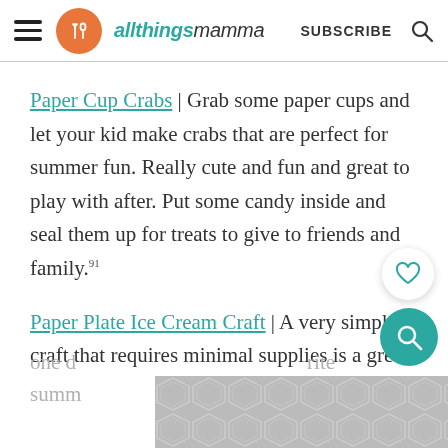allthingsmamma | SUBSCRIBE
Paper Cup Crabs | Grab some paper cups and let your kid make crabs that are perfect for summer fun. Really cute and fun and great to play with after. Put some candy inside and seal them up for treats to give to friends and family.91
Paper Plate Ice Cream Craft | A very simple craft that requires minimal supplies is a great one d... rite summ...